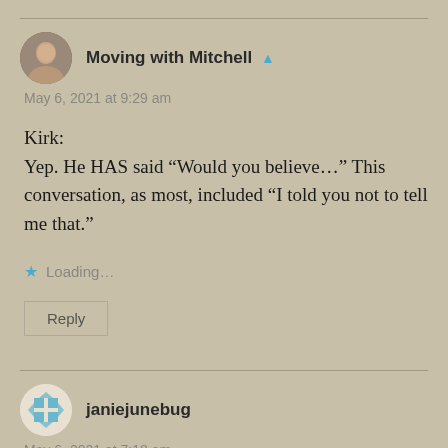Moving with Mitchell
May 6, 2021 at 9:29 am
Kirk:
Yep. He HAS said “Would you believe…” This conversation, as most, included “I told you not to tell me that.”
Loading...
Reply
janiejunebug
May 6, 2021 at 7:18 am